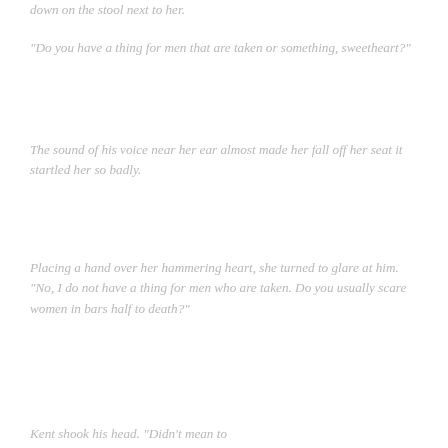down on the stool next to her.
“Do you have a thing for men that are taken or something, sweetheart?”
The sound of his voice near her ear almost made her fall off her seat it startled her so badly.
Placing a hand over her hammering heart, she turned to glare at him. “No, I do not have a thing for men who are taken. Do you usually scare women in bars half to death?”
Kent shook his head. “Didn’t mean to